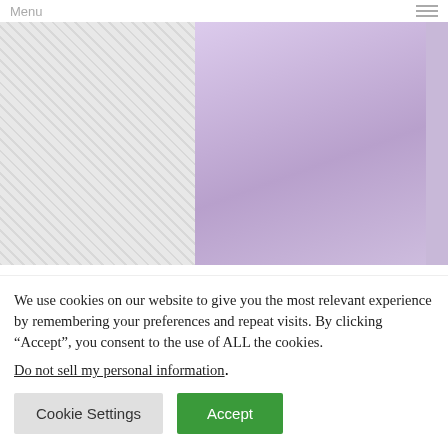Menu
[Figure (photo): Photo of Sultan of Sokoto dressed in light purple/lavender traditional Islamic attire with embroidery detail]
SPECIAL REPORT: Sultan of Sokoto concludes duty in yet another Islamic calendar year, makes final call for special prayers
We use cookies on our website to give you the most relevant experience by remembering your preferences and repeat visits. By clicking “Accept”, you consent to the use of ALL the cookies.
Do not sell my personal information.
Cookie Settings | Accept